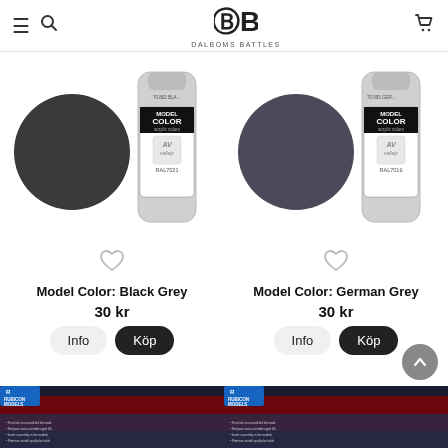Dalboms Battles - navigation header with hamburger menu, search, logo, and cart
[Figure (photo): Vallejo Model Color Black Grey paint product — paint swatch circle (dark grey-black) and paint bottle]
[Figure (photo): Vallejo Model Color German Grey paint product — paint swatch circle (dark blue-grey) and paint bottle]
Model Color: Black Grey
30 kr
Model Color: German Grey
30 kr
[Figure (photo): Rubicon Models product box — bottom left, partially visible]
[Figure (photo): Rubicon Models product box — bottom right, partially visible]